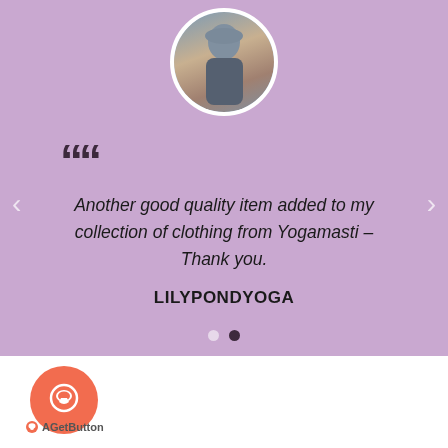[Figure (photo): Circular profile photo of a person against an outdoor background, with white circular border, on purple background]
Another good quality item added to my collection of clothing from Yogamasti – Thank you.
LILYPONDYOGA
[Figure (other): Chat/GetButton widget with orange circular button containing speech bubble icon, and 'GetButton' label below]